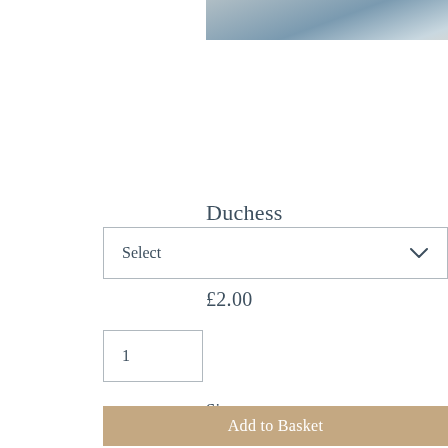[Figure (photo): Product image showing Duchess Satin in Blue fabric - a blurred close-up with blue and beige tones]
Duchess Satin in Blue
£2.00
Size
Select
Quantity
1
Add to Basket